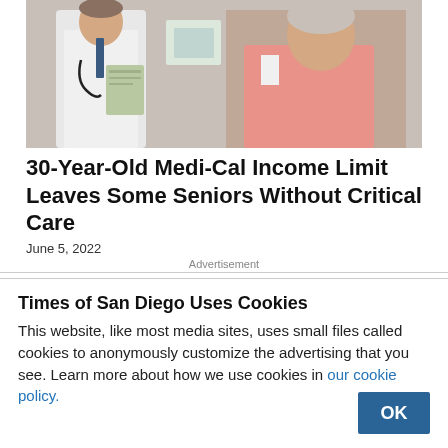[Figure (photo): A male doctor in a white coat with a stethoscope reviewing a document with an older female patient in a pink shirt]
30-Year-Old Medi-Cal Income Limit Leaves Some Seniors Without Critical Care
June 5, 2022
Advertisement
Times of San Diego Uses Cookies
This website, like most media sites, uses small files called cookies to anonymously customize the advertising that you see. Learn more about how we use cookies in our cookie policy.